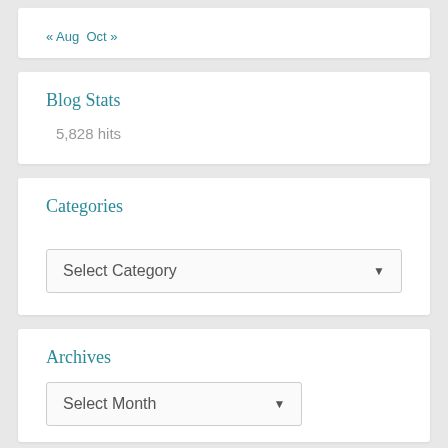« Aug  Oct »
Blog Stats
5,828 hits
Categories
Select Category
Archives
Select Month